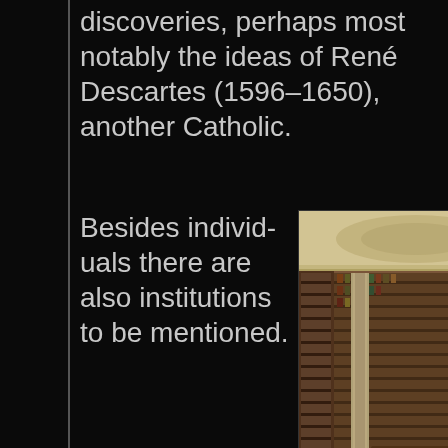discoveries, perhaps most notably the ideas of René Descartes (1596–1650), another Catholic.
Besides individuals there are also institutions to be mentioned.
[Figure (photo): Interior of a grand historic library with tall wooden bookshelves lining the walls, ornate painted ceiling, classical columns, wooden reading tables, and a large globe in the foreground.]